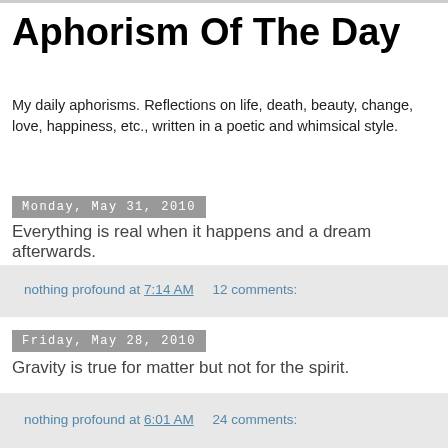Aphorism Of The Day
My daily aphorisms. Reflections on life, death, beauty, change, love, happiness, etc., written in a poetic and whimsical style.
Monday, May 31, 2010
Everything is real when it happens and a dream afterwards.
nothing profound at 7:14 AM     12 comments:
Friday, May 28, 2010
Gravity is true for matter but not for the spirit.
nothing profound at 6:01 AM     24 comments: